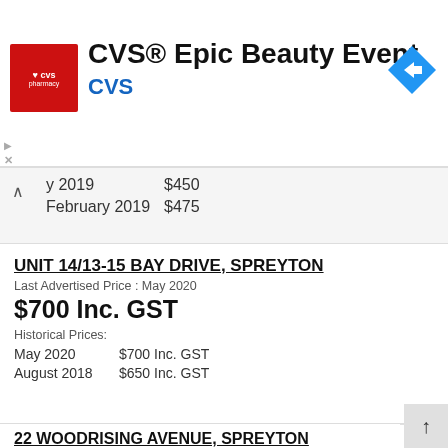[Figure (logo): CVS Pharmacy advertisement banner with red CVS logo, text 'CVS® Epic Beauty Event', blue 'CVS' subtext, and blue navigation arrow icon]
y 2019   $450
February 2019   $475
UNIT 14/13-15 BAY DRIVE, SPREYTON
Last Advertised Price : May 2020
$700 Inc. GST
Historical Prices:
May 2020      $700 Inc. GST
August 2018   $650 Inc. GST
22 WOODRISING AVENUE, SPREYTON
3   1   1   House
Last Advertised Price : May 2020
$320 per week
Historical Price: